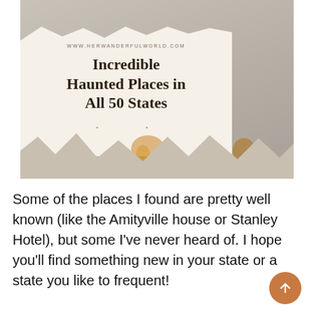[Figure (illustration): Blog post thumbnail image showing a dark forest/moody background at top, a torn white paper card overlay with text 'Incredible Haunted Places in All 50 States' and website URL 'www.herwanderfulworld.com', set against a grey torn paper background with coffee/tea stain marks.]
Some of the places I found are pretty well known (like the Amityville house or Stanley Hotel), but some I've never heard of. I hope you'll find something new in your state or a state you like to frequent!